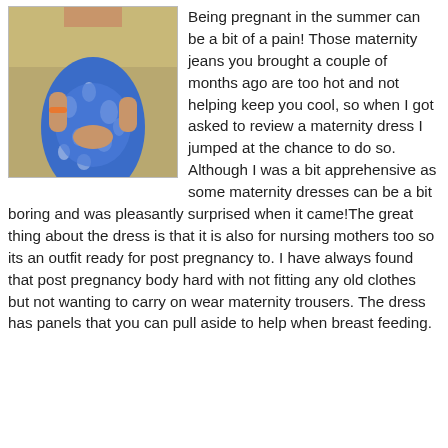[Figure (photo): A pregnant woman wearing a blue and white floral maternity dress, shown from neck to thighs, standing outdoors on grass.]
Being pregnant in the summer can be a bit of a pain! Those maternity jeans you brought a couple of months ago are too hot and not helping keep you cool, so when I got asked to review a maternity dress I jumped at the chance to do so. Although I was a bit apprehensive as some maternity dresses can be a bit boring and was pleasantly surprised when it came!The great thing about the dress is that it is also for nursing mothers too so its an outfit ready for post pregnancy to. I have always found that post pregnancy body hard with not fitting any old clothes but not wanting to carry on wear maternity trousers. The dress has panels that you can pull aside to help when breast feeding.